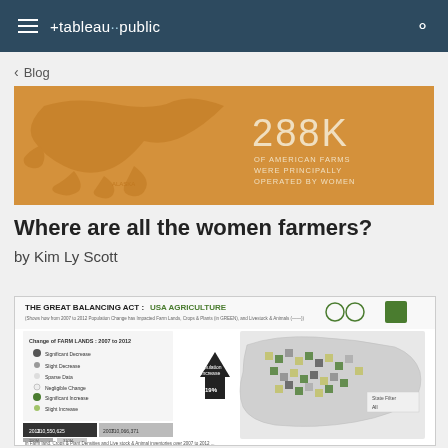tableau public
< Blog
[Figure (infographic): Orange infographic banner showing a map of Alaska and text '288K OF AMERICAN FARMS WERE PRINCIPALLY OPERATED BY WOMEN']
Where are all the women farmers?
by Kim Ly Scott
[Figure (screenshot): Screenshot of Tableau Public visualization titled 'THE GREAT BALANCING ACT : USA AGRICULTURE' showing a choropleth map of United States counties with farm land change data from 2007 to 2012, including a legend with categories like Significant Decrease, Slight Decrease, Sparse Data, Negligible Change, Significant Increase, Slight Increase, and showing population increase of 4.19%]